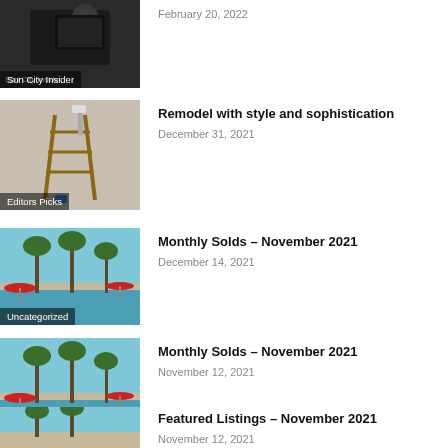[Figure (photo): Person reading at desk, dark background, category label: Sun City Insider]
February 20, 2022
[Figure (photo): Ladder against wall in room being remodeled, category label: Editors Picks]
Remodel with style and sophistication
December 31, 2021
[Figure (photo): Pool area with red umbrellas and palm trees, category label: Uncategorized]
Monthly Solds – November 2021
December 14, 2021
[Figure (photo): Pool area with red umbrellas and palm trees, category label: Uncategorized]
Monthly Solds – November 2021
November 12, 2021
[Figure (photo): Pool area with palm trees, partially visible]
Featured Listings – November 2021
November 12, 2021